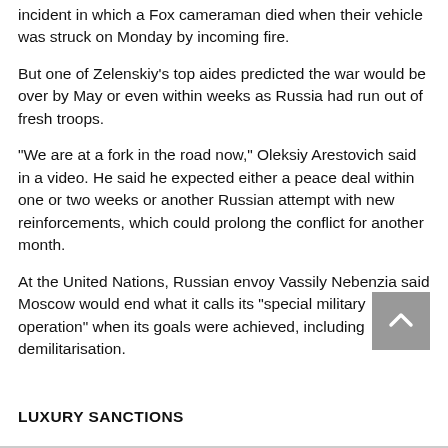incident in which a Fox cameraman died when their vehicle was struck on Monday by incoming fire.
But one of Zelenskiy's top aides predicted the war would be over by May or even within weeks as Russia had run out of fresh troops.
"We are at a fork in the road now," Oleksiy Arestovich said in a video. He said he expected either a peace deal within one or two weeks or another Russian attempt with new reinforcements, which could prolong the conflict for another month.
At the United Nations, Russian envoy Vassily Nebenzia said Moscow would end what it calls its "special military operation" when its goals were achieved, including demilitarisation.
LUXURY SANCTIONS